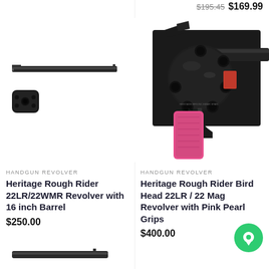$195.45  $169.99
[Figure (photo): Heritage Rough Rider revolver barrel and cylinder component photos on white background]
[Figure (photo): Heritage Rough Rider Bird Head revolver close-up with pink pearl grips, black finish]
HANDGUN REVOLVER
Heritage Rough Rider 22LR/22WMR Revolver with 16 inch Barrel
$250.00
HANDGUN REVOLVER
Heritage Rough Rider Bird Head 22LR / 22 Mag Revolver with Pink Pearl Grips
$400.00
[Figure (photo): Partial view of another handgun at bottom of page]